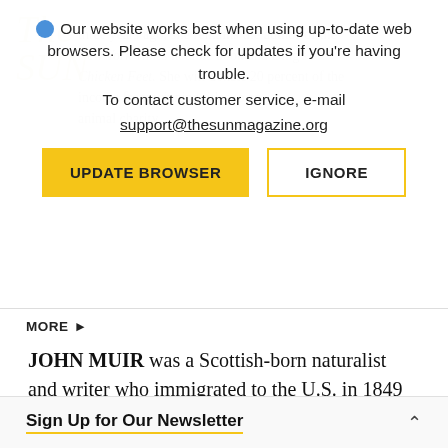Our website works best when using up-to-date web browsers. Please check for updates if you're having trouble. To contact customer service, e-mail support@thesunmagazine.org
UPDATE BROWSER
IGNORE
three years ago, she remains the author of the New York Times notable book Ding's Chicken Feet. She will donate 20 percent of the income from winning titles to an animal charity.
MORE ▶
JOHN MUIR was a Scottish-born naturalist and writer who immigrated to the U.S. in 1849 with his family at the age of eleven. He cofounded the Sierra Club in 1892 and his activism helped
Sign Up for Our Newsletter